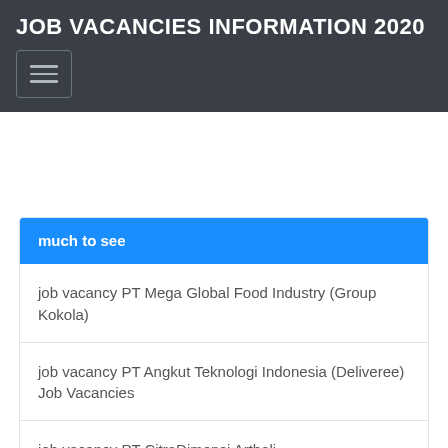JOB VACANCIES INFORMATION 2020
much to see
job vacancy PT Mega Global Food Industry (Group Kokola)
job vacancy PT Angkut Teknologi Indonesia (Deliveree) Job Vacancies
job vacancy PT CitraDimensi Arthali